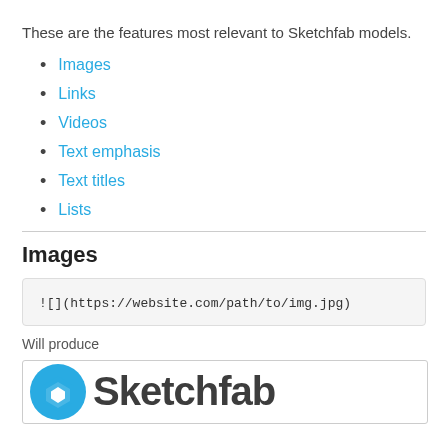These are the features most relevant to Sketchfab models.
Images
Links
Videos
Text emphasis
Text titles
Lists
Images
![](https://website.com/path/to/img.jpg)
Will produce
[Figure (logo): Sketchfab logo with teal circular icon and dark bold Sketchfab wordmark]